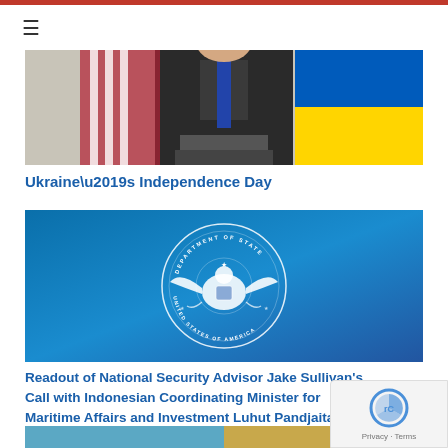[Figure (photo): Photo of a person in a dark suit standing at a podium with flags including Ukraine flag in background, partially cropped at top]
Ukraine’s Independence Day
[Figure (photo): US Department of State seal on a blue gradient background]
Readout of National Security Advisor Jake Sullivan’s Call with Indonesian Coordinating Minister for Maritime Affairs and Investment Luhut Pandjaitan
[Figure (photo): Partially visible photo at the bottom of the page, cropped]